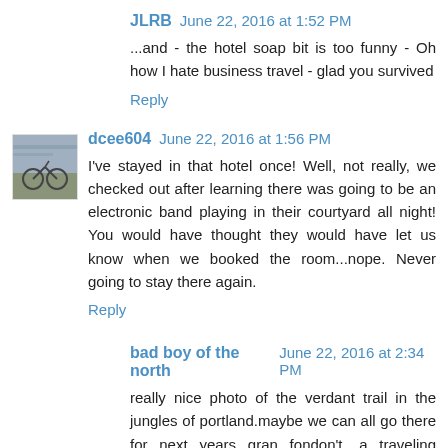JLRB  June 22, 2016 at 1:52 PM
...and - the hotel soap bit is too funny - Oh how I hate business travel - glad you survived
Reply
dcee604  June 22, 2016 at 1:56 PM
I've stayed in that hotel once! Well, not really, we checked out after learning there was going to be an electronic band playing in their courtyard all night! You would have thought they would have let us know when we booked the room...nope. Never going to stay there again.
Reply
bad boy of the north  June 22, 2016 at 2:34 PM
really nice photo of the verdant trail in the jungles of portland.maybe we can all go there for next years gran fondon't....a traveling fondon't if you'd like.
Reply